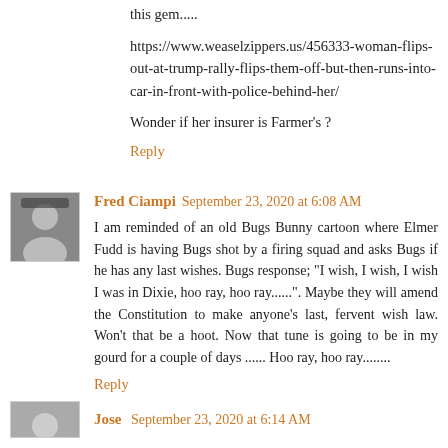this gem.....
https://www.weaselzippers.us/456333-woman-flips-out-at-trump-rally-flips-them-off-but-then-runs-into-car-in-front-with-police-behind-her/
Wonder if her insurer is Farmer's ?
Reply
Fred Ciampi  September 23, 2020 at 6:08 AM
I am reminded of an old Bugs Bunny cartoon where Elmer Fudd is having Bugs shot by a firing squad and asks Bugs if he has any last wishes. Bugs response; "I wish, I wish, I wish I was in Dixie, hoo ray, hoo ray......". Maybe they will amend the Constitution to make anyone's last, fervent wish law. Won't that be a hoot. Now that tune is going to be in my gourd for a couple of days ...... Hoo ray, hoo ray........
Reply
Jose  September 23, 2020 at 6:14 AM